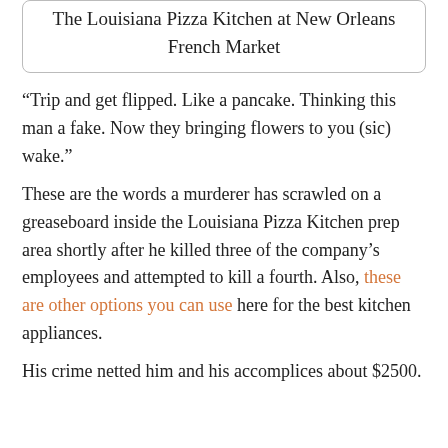The Louisiana Pizza Kitchen at New Orleans French Market
“Trip and get flipped. Like a pancake. Thinking this man a fake. Now they bringing flowers to you (sic) wake.”
These are the words a murderer has scrawled on a greaseboard inside the Louisiana Pizza Kitchen prep area shortly after he killed three of the company’s employees and attempted to kill a fourth. Also, these are other options you can use here for the best kitchen appliances.
His crime netted him and his accomplices about $2500.